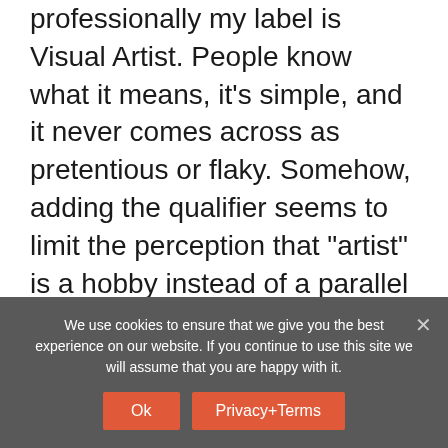professionally my label is Visual Artist. People know what it means, it's simple, and it never comes across as pretentious or flaky. Somehow, adding the qualifier seems to limit the perception that "artist" is a hobby instead of a parallel career. My next set of business cards are going to have my name with "paintings and drawings" in small print. Funny how when I meet other professional artists, we always seem to introduce ourselves by our medium.
Reply
We use cookies to ensure that we give you the best experience on our website. If you continue to use this site we will assume that you are happy with it.
Ok
Privacy+Terms